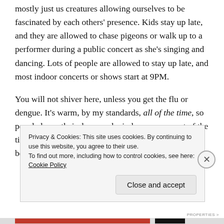mostly just us creatures allowing ourselves to be fascinated by each others' presence.  Kids stay up late, and they are allowed to chase pigeons or walk up to a performer during a public concert as she's singing and dancing.  Lots of people are allowed to stay up late, and most indoor concerts or shows start at 9PM.
You will not shiver here, unless you get the flu or dengue.  It's warm, by my standards, all of the time, so people leave their doors and windows open most of the time too. Movie theaters still perform the function of being an air-conditioned relief from the heat. The city
Privacy & Cookies: This site uses cookies. By continuing to use this website, you agree to their use.
To find out more, including how to control cookies, see here: Cookie Policy